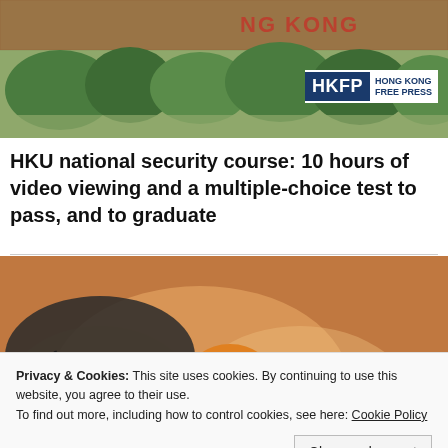[Figure (photo): Photo of a university campus with brick wall and greenery, partially showing text 'HONG KONG'. HKFP (Hong Kong Free Press) logo overlay in top right.]
HKU national security course: 10 hours of video viewing and a multiple-choice test to pass, and to graduate
[Figure (photo): Photo of protesters in smoky environment; one person wearing orange hard hat and black clothing crouching, others holding umbrellas.]
Privacy & Cookies: This site uses cookies. By continuing to use this website, you agree to their use.
To find out more, including how to control cookies, see here: Cookie Policy
Close and accept